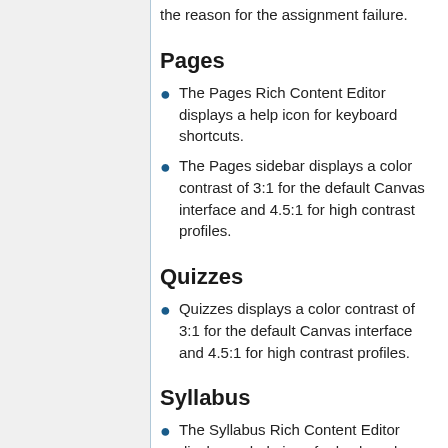error message. Screen readers can view the reason for the assignment failure.
Pages
The Pages Rich Content Editor displays a help icon for keyboard shortcuts.
The Pages sidebar displays a color contrast of 3:1 for the default Canvas interface and 4.5:1 for high contrast profiles.
Quizzes
Quizzes displays a color contrast of 3:1 for the default Canvas interface and 4.5:1 for high contrast profiles.
Syllabus
The Syllabus Rich Content Editor displays a help icon for keyboard